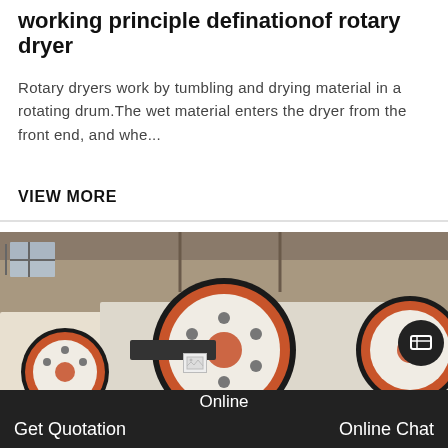working principle definationof rotary dryer
Rotary dryers work by tumbling and drying material in a rotating drum.The wet material enters the dryer from the front end, and whe...
VIEW MORE
[Figure (photo): Industrial machinery photo showing large rotary drum/crusher equipment with orange and black flywheel pulleys in a factory warehouse setting]
Get Quotation    Online    Online Chat